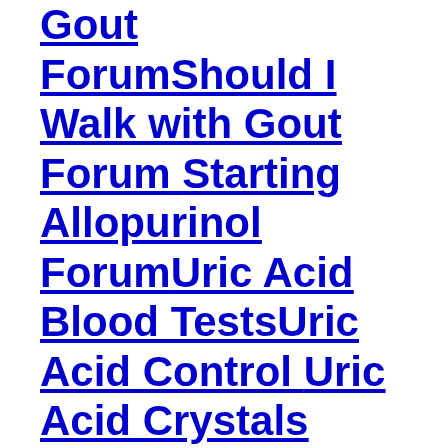Gout ForumShould I Walk with Gout Forum Starting Allopurinol Forum Uric Acid Blood TestsUric Acid Control Uric Acid Crystals ForumUric Acid Lowering with Gout Pain Relief QuestionsUric Acid Meter ForumUsing GoutPal ForumVegan Gout ForumVegetarian Gout ForumXanthine and Gout Forum